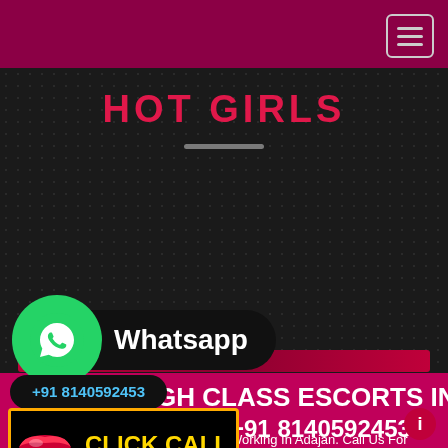HOT GIRLS
[Figure (infographic): Three horizontal red gradient bars on dark textured background]
[Figure (logo): WhatsApp green circle logo with phone icon, next to black pill button labeled 'Whatsapp']
+91 8140592453
HIGH CLASS ESCORTS IN
[Figure (infographic): Black box with gold border showing red lips icon and yellow text CLICK CALL]
+91 8140592453
Working In Adajan. Call Us For